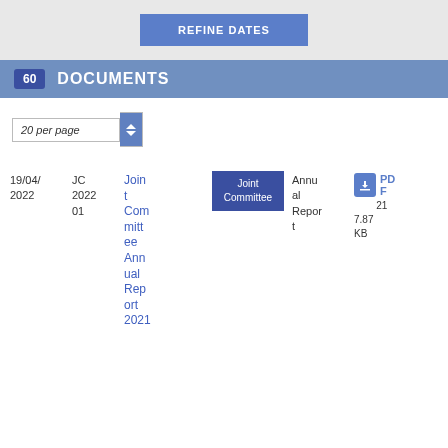[Figure (screenshot): REFINE DATES button on grey background]
60 DOCUMENTS
20 per page
19/04/2022
JC 2022 01
Joint Committee Annual Report 2021
Joint Committee
Annual Report
PDF
217.87 KB